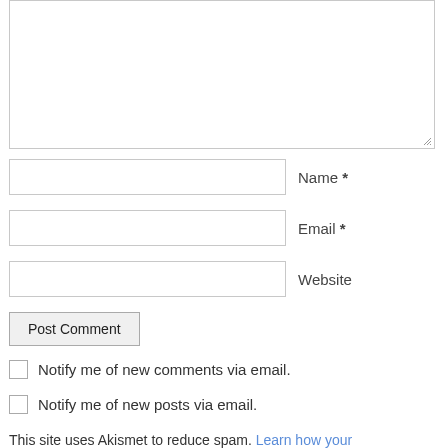[Figure (screenshot): Textarea input box (comment field), empty, with resize handle at bottom-right corner]
Name *
Email *
Website
Post Comment
Notify me of new comments via email.
Notify me of new posts via email.
This site uses Akismet to reduce spam. Learn how your